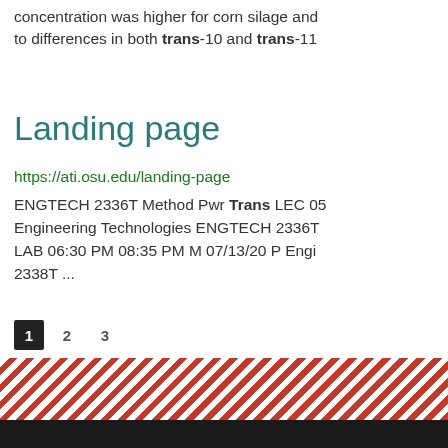concentration was higher for corn silage and to differences in both trans-10 and trans-11
Landing page
https://ati.osu.edu/landing-page
ENGTECH 2336T Method Pwr Trans LEC 05 Engineering Technologies ENGTECH 2336T LAB 06:30 PM 08:35 PM M 07/13/20 P Engi 2338T ...
1  2  3